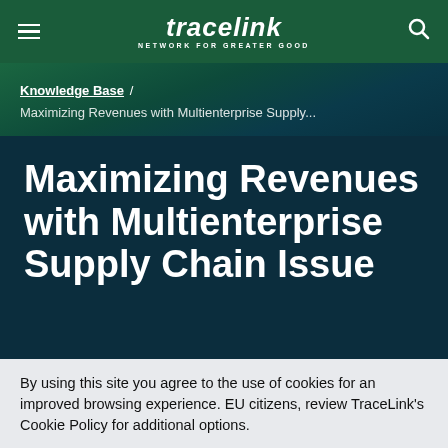tracelink NETWORK FOR GREATER GOOD
Knowledge Base / Maximizing Revenues with Multienterprise Supply...
Maximizing Revenues with Multienterprise Supply Chain Issue
By using this site you agree to the use of cookies for an improved browsing experience. EU citizens, review TraceLink's Cookie Policy for additional options.